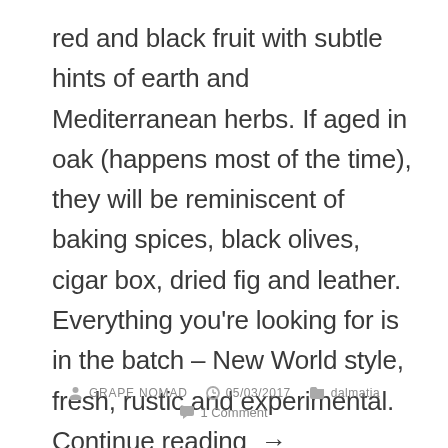red and black fruit with subtle hints of earth and Mediterranean herbs. If aged in oak (happens most of the time), they will be reminiscent of baking spices, black olives, cigar box, dried fig and leather. Everything you're looking for is in the batch – New World style, fresh, rustic and experimental. Continue reading →
GRAPE NOMAD  05/03/2017  dalmatia  1 Comment